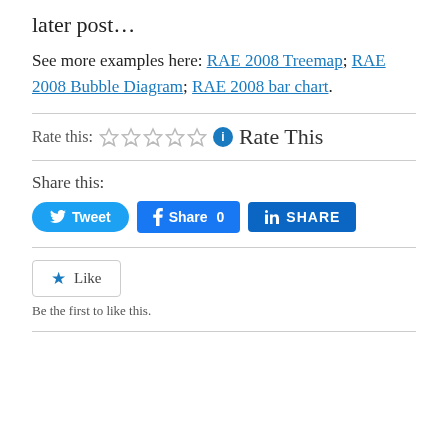later post…
See more examples here: RAE 2008 Treemap; RAE 2008 Bubble Diagram; RAE 2008 bar chart.
Rate this: ☆☆☆☆☆ ℹ Rate This
Share this:
[Figure (other): Social share buttons: Tweet (Twitter), Share 0 (Facebook), SHARE (LinkedIn)]
[Figure (other): Like button with star icon]
Be the first to like this.